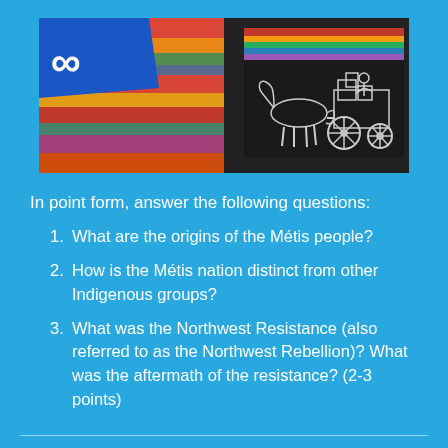[Figure (photo): Banner image showing Métis flag with infinity symbol on blue background, colorful woven textiles, and a black and white sketch of a horse-drawn cart]
In point form, answer the following questions:
1. What are the origins of the Métis people?
2. How is the Métis nation distinct from other Indigenous groups?
3. What was the Northwest Resistance (also referred to as the Northwest Rebellion)? What was the aftermath of the resistance? (2-3 points)